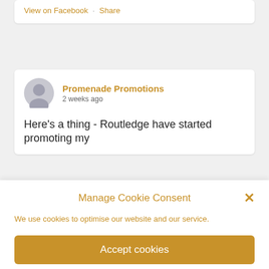View on Facebook · Share
Promenade Promotions
2 weeks ago
Here's a thing - Routledge have started promoting my
Manage Cookie Consent
We use cookies to optimise our website and our service.
Accept cookies
Deny
View preferences